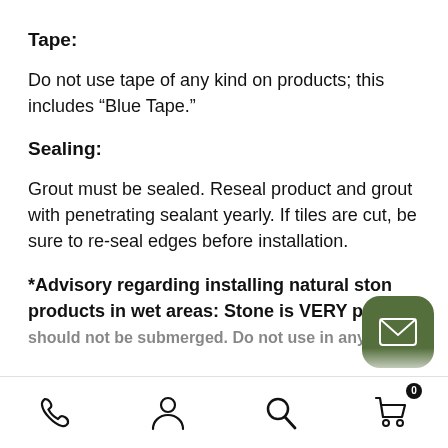Tape:
Do not use tape of any kind on products; this includes “Blue Tape.”
Sealing:
Grout must be sealed. Reseal product and grout with penetrating sealant yearly. If tiles are cut, be sure to re-seal edges before installation.
*Advisory regarding installing natural stone products in wet areas: Stone is VERY porous should not be submerged. Do not use in any
[Figure (other): Bottom navigation bar with phone, user, search, and cart (with 0 badge) icons, and a dark green rounded square email button overlay]
Phone | User | Search | Cart (0)